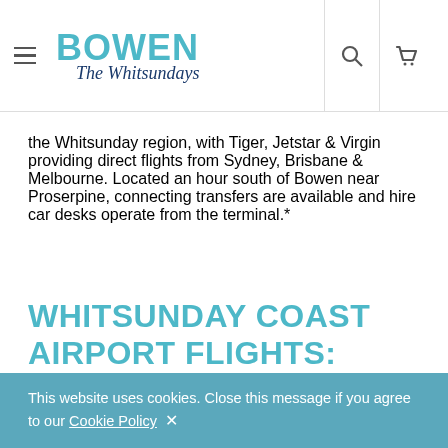BOWEN The Whitsundays — navigation header with hamburger menu, search icon, and cart icon
the Whitsunday region, with Tiger, Jetstar & Virgin providing direct flights from Sydney, Brisbane & Melbourne. Located an hour south of Bowen near Proserpine, connecting transfers are available and hire car desks operate from the terminal.*
WHITSUNDAY COAST AIRPORT FLIGHTS:
This website uses cookies. Close this message if you agree to our Cookie Policy ✕